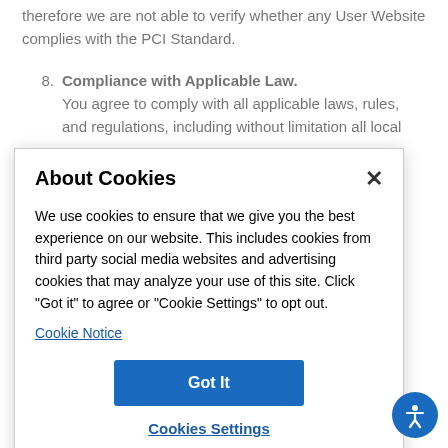therefore we are not able to verify whether any User Website complies with the PCI Standard.
8. Compliance with Applicable Law. You agree to comply with all applicable laws, rules, and regulations, including without limitation all local
[Figure (screenshot): Cookie consent modal dialog with title 'About Cookies', close button (×), body text about cookies usage, a 'Cookie Notice' link, a blue 'Got It' button, and a 'Cookies Settings' link. An accessibility icon (person in circle) appears in the bottom right corner.]